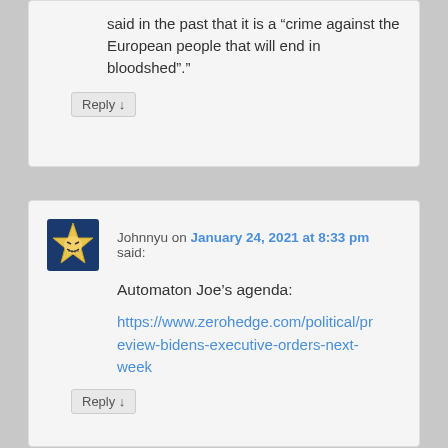said in the past that it is a “crime against the European people that will end in bloodshed”.”
Reply ↓
Johnnyu on January 24, 2021 at 8:33 pm said:
Automaton Joe’s agenda:
https://www.zerohedge.com/political/preview-bidens-executive-orders-next-week
Reply ↓